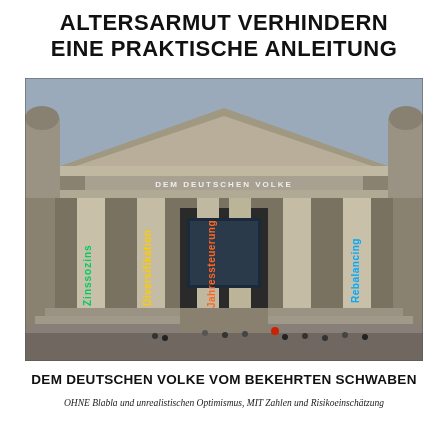ALTERSARMUT VERHINDERN EINE PRAKTISCHE ANLEITUNG
[Figure (photo): Photograph of the Reichstag building in Berlin with four vertical text labels overlaid on the columns: 'Zinssozins', 'Diversifikation', 'Jahressteuerung', 'Rebalancing'. The inscription 'DEM DEUTSCHEN VOLKE' is visible on the building's pediment.]
DEM DEUTSCHEN VOLKE VOM BEKEHRTEN SCHWABEN
OHNE Blabla und unrealistischen Optimismus, MIT Zahlen und Risikoeinschätzung